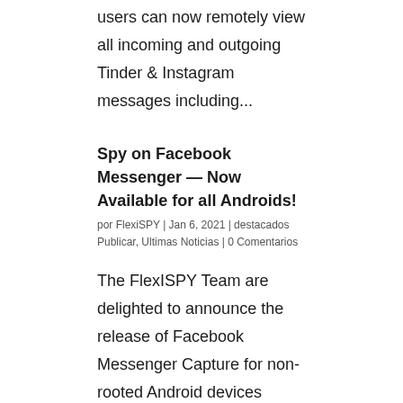users can now remotely view all incoming and outgoing Tinder & Instagram messages including...
Spy on Facebook Messenger — Now Available for all Androids!
por FlexiSPY | Jan 6, 2021 | destacados Publicar, Ultimas Noticias | 0 Comentarios
The FlexISPY Team are delighted to announce the release of Facebook Messenger Capture for non-rooted Android devices running on OS 9 or above. FlexiSPY users can now remotely view all incoming and outgoing Facebook messages including contacts, dates, and time stamps...